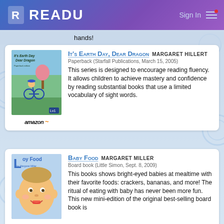READU | Sign In
hands!
IT'S EARTH DAY, DEAR DRAGON  MARGARET HILLERT
Paperback (Starfall Publications, March 15, 2005)
This series is designed to encourage reading fluency. It allows children to achieve mastery and confidence by reading substantial books that use a limited vocabulary of sight words.
BABY FOOD  MARGARET MILLER
Board book (Little Simon, Sept. 8, 2009)
This books shows bright-eyed babies at mealtime with their favorite foods: crackers, bananas, and more! The ritual of eating with baby has never been more fun. This new mini-edition of the original best-selling board book is